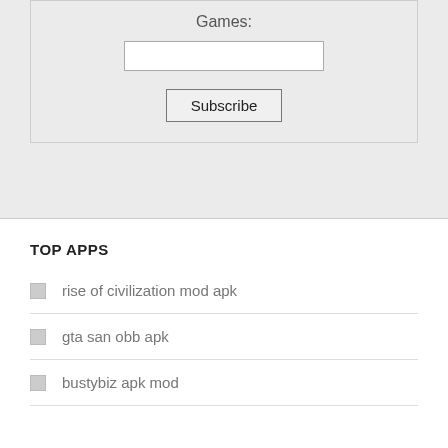Games:
Subscribe
TOP APPS
rise of civilization mod apk
gta san obb apk
bustybiz apk mod